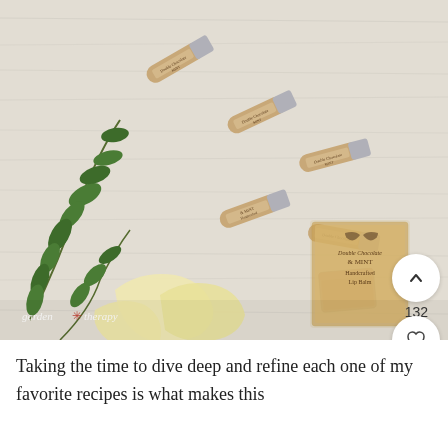[Figure (photo): Flatlay photo of handcrafted lip balm tubes labeled 'Double Chocolate Mint' and 'Handcrafted', scattered on a white distressed wood surface alongside fresh green herb sprigs, shea butter chunks, a kraft paper label card reading 'Double Chocolate & Mint Handcrafted Lip Balm', and a clear lip gloss tube. Garden Therapy watermark in bottom left. UI buttons on right: up chevron, heart (132 likes), and search icons.]
Taking the time to dive deep and refine each one of my favorite recipes is what makes this